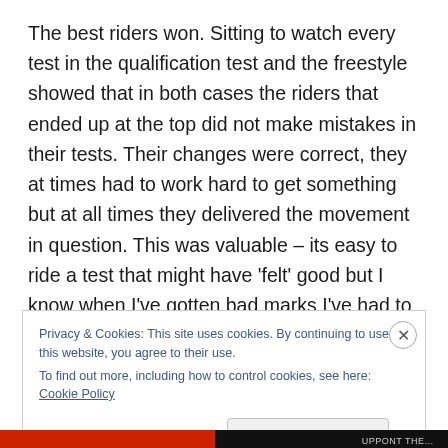The best riders won. Sitting to watch every test in the qualification test and the freestyle showed that in both cases the riders that ended up at the top did not make mistakes in their tests. Their changes were correct, they at times had to work hard to get something but at all times they delivered the movement in question. This was valuable – its easy to ride a test that might have 'felt' good but I know when I've gotten bad marks I've had to honestly ask myself – was it accurate, did you ride the movement that was asked for where it was asked for and often times
Privacy & Cookies: This site uses cookies. By continuing to use this website, you agree to their use.
To find out more, including how to control cookies, see here: Cookie Policy
Close and accept